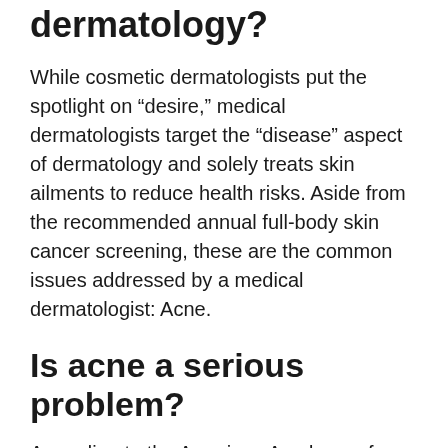Is acne considered medical dermatology?
While cosmetic dermatologists put the spotlight on “desire,” medical dermatologists target the “disease” aspect of dermatology and solely treats skin ailments to reduce health risks. Aside from the recommended annual full-body skin cancer screening, these are the common issues addressed by a medical dermatologist: Acne.
Is acne a serious problem?
According to the American Academy of Dermatology, acne is the most common skin condition in the U.S. Although acne isn’t a life-threatening condition, it can be painful,